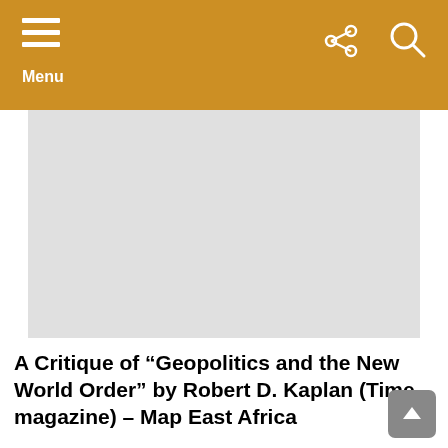Menu
[Figure (photo): Light gray image placeholder rectangle]
A Critique of “Geopolitics and the New World Order” by Robert D. Kaplan (Time magazine) – Map East Africa
A Critique of “Geopolitics and the New World Order” by Robert D. Kaplan (Time magazine) – Map East Africa Russia looms huge on the two-page map that serves as the title page for Robert D. Kaplan’s article “Geopolitics and the New World Order,” published in the March 31st issue of Time.  The Mercator projection, which [...] MORE
READ MORE